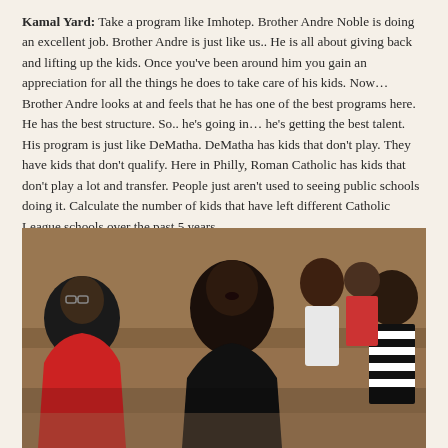Kamal Yard: Take a program like Imhotep. Brother Andre Noble is doing an excellent job. Brother Andre is just like us.. He is all about giving back and lifting up the kids. Once you've been around him you gain an appreciation for all the things he does to take care of his kids. Now… Brother Andre looks at and feels that he has one of the best programs here. He has the best structure. So.. he's going in… he's getting the best talent. His program is just like DeMatha. DeMatha has kids that don't play. They have kids that don't qualify. Here in Philly, Roman Catholic has kids that don't play a lot and transfer. People just aren't used to seeing public schools doing it. Calculate the number of kids that have left different Catholic League schools over the past 5 years.
[Figure (photo): Basketball scene showing several people on the sideline of a gym. A man in a black shirt in the center appears to be coaching or speaking intensely. To his left is a man in a red jacket. To the far right is a man in a black and white referee striped shirt. Background shows a blurred gymnasium with other players and spectators.]